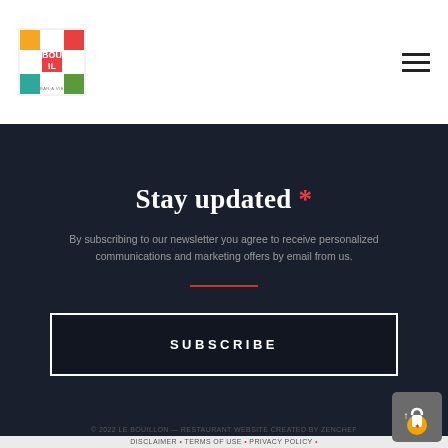[Figure (logo): Le Bouillon restaurant logo — colorful square grid with orange, red, teal, and green squares forming letters, with 'LE BOUILLON' text and tagline below]
Stay updated *
By subscribing to our newsletter you agree to receive personalized communications and marketing offers by email from us.
SUBSCRIBE
© 2022 LE BOUILLON — RESTAURANT WEBSITE CREATED BY ZENCHEF DISCLAIMER • TERMS OF USE • PRIVACY POLICY • COOKIES POLICY